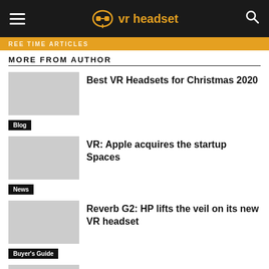vr headset
MORE FROM AUTHOR
Best VR Headsets for Christmas 2020
Blog
VR: Apple acquires the startup Spaces
News
Reverb G2: HP lifts the veil on its new VR headset
Buyer's Guide
How Virtual Reality can help exercise and stop sedentary lifestyle